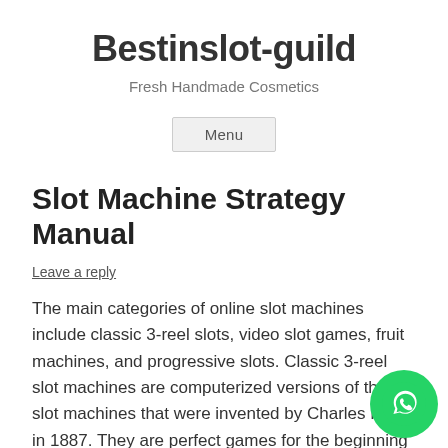Bestinslot-guild
Fresh Handmade Cosmetics
Menu
Slot Machine Strategy Manual
Leave a reply
The main categories of online slot machines include classic 3-reel slots, video slot games, fruit machines, and progressive slots. Classic 3-reel slot machines are computerized versions of the slot machines that were invented by Charles Fey in 1887. They are perfect games for the beginning slot players because of their easy and straightforward format.a slot online